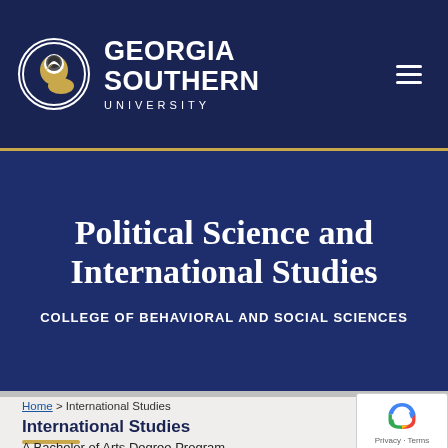GEORGIA SOUTHERN UNIVERSITY
Political Science and International Studies
COLLEGE OF BEHAVIORAL AND SOCIAL SCIENCES
Home > International Studies
International Studies
A Bachelor of Arts Degree Program